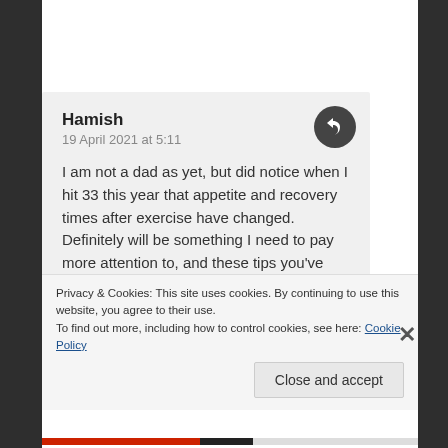Hamish
19 April 2021 at 5:11

I am not a dad as yet, but did notice when I hit 33 this year that appetite and recovery times after exercise have changed. Definitely will be something I need to pay more attention to, and these tips you've given here will certainly come in handy. I love reading a bit of Isaac Asimov, funnily enough my dad was the one that got me into reading his books!
Privacy & Cookies: This site uses cookies. By continuing to use this website, you agree to their use.
To find out more, including how to control cookies, see here: Cookie Policy